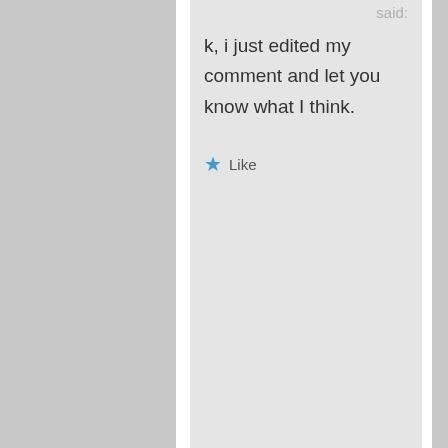said:
k, i just edited my comment and let you know what I think.
★ Like
Peridorito on May 25, 2015 at 4:30 pm said: